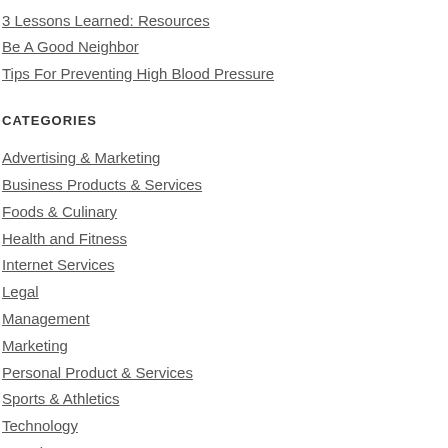3 Lessons Learned: Resources
Be A Good Neighbor
Tips For Preventing High Blood Pressure
CATEGORIES
Advertising & Marketing
Business Products & Services
Foods & Culinary
Health and Fitness
Internet Services
Legal
Management
Marketing
Personal Product & Services
Sports & Athletics
Technology
Travel